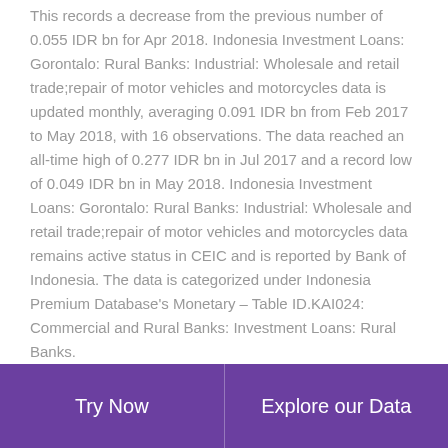This records a decrease from the previous number of 0.055 IDR bn for Apr 2018. Indonesia Investment Loans: Gorontalo: Rural Banks: Industrial: Wholesale and retail trade;repair of motor vehicles and motorcycles data is updated monthly, averaging 0.091 IDR bn from Feb 2017 to May 2018, with 16 observations. The data reached an all-time high of 0.277 IDR bn in Jul 2017 and a record low of 0.049 IDR bn in May 2018. Indonesia Investment Loans: Gorontalo: Rural Banks: Industrial: Wholesale and retail trade;repair of motor vehicles and motorcycles data remains active status in CEIC and is reported by Bank of Indonesia. The data is categorized under Indonesia Premium Database's Monetary – Table ID.KAI024: Commercial and Rural Banks: Investment Loans: Rural Banks.
View Indonesia's Indonesia Investment Loans: Gorontalo: Rural Banks: Industrial: Wholesale and retail trade;repair of motor vehicles and motorcycles from Feb 2017 to May 2018 in the chart:
Try Now | Explore our Data